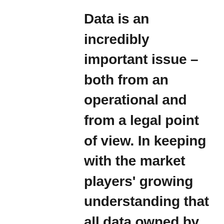Data is an incredibly important issue – both from an operational and from a legal point of view. In keeping with the market players' growing understanding that all data owned by an operator should also remain under the control of the operator, AVIATION DataHub was set up to become the independent platform for the entire aviation industry. AVIATION DataHub offers a secure, highly efficient and neutral solution for data services. Our mission is to leverage synergies in digitalization